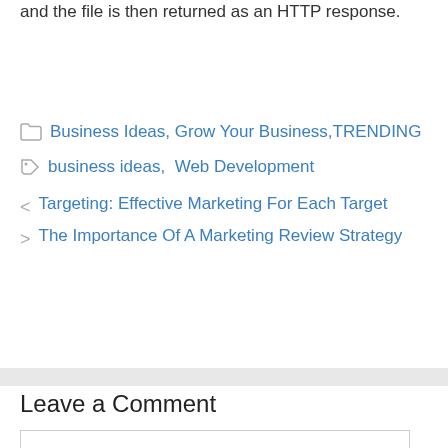and the file is then returned as an HTTP response.
Categories: Business Ideas, Grow Your Business, TRENDING
Tags: business ideas, Web Development
< Targeting: Effective Marketing For Each Target
> The Importance Of A Marketing Review Strategy
Leave a Comment